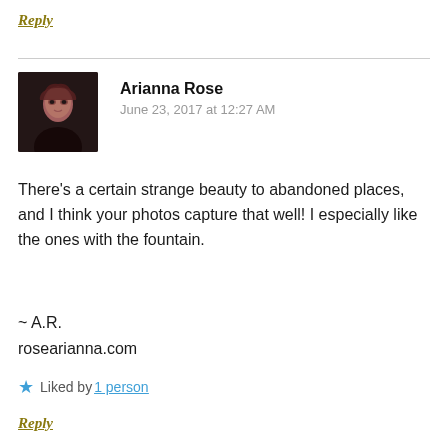Reply
Arianna Rose
June 23, 2017 at 12:27 AM
[Figure (photo): Portrait photo of a young woman with dark reddish-brown hair, wearing dark clothing, against a dark background.]
There's a certain strange beauty to abandoned places, and I think your photos capture that well! I especially like the ones with the fountain.
~ A.R.
rosearianna.com
Liked by 1 person
Reply